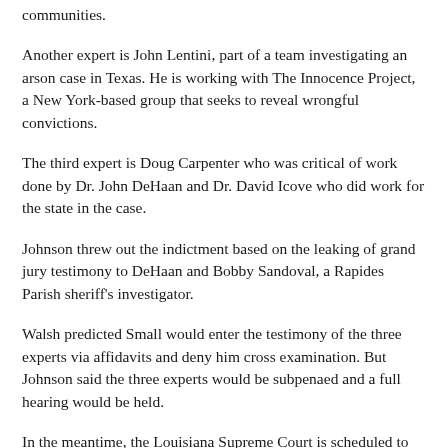communities.
Another expert is John Lentini, part of a team investigating an arson case in Texas. He is working with The Innocence Project, a New York-based group that seeks to reveal wrongful convictions.
The third expert is Doug Carpenter who was critical of work done by Dr. John DeHaan and Dr. David Icove who did work for the state in the case.
Johnson threw out the indictment based on the leaking of grand jury testimony to DeHaan and Bobby Sandoval, a Rapides Parish sheriff's investigator.
Walsh predicted Small would enter the testimony of the three experts via affidavits and deny him cross examination. But Johnson said the three experts would be subpenaed and a full hearing would be held.
In the meantime, the Louisiana Supreme Court is scheduled to hear an appeal by Small on the refusal to allow the fact that Hypes passed a polygraph test into evidence. That hearing will be May 17